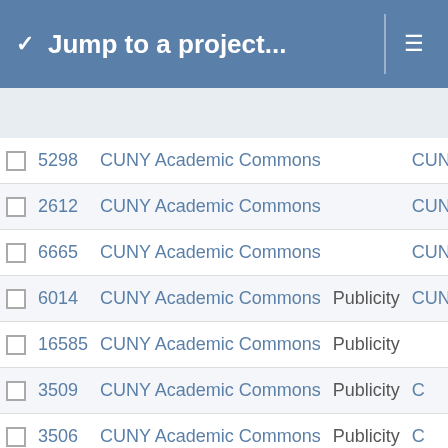Jump to a project...
|  | ID | Name | Tag | Category |
| --- | --- | --- | --- | --- |
|  | 5298 | CUNY Academic Commons |  | CUN |
|  | 2612 | CUNY Academic Commons |  | CUN |
|  | 6665 | CUNY Academic Commons |  | CUN |
|  | 6014 | CUNY Academic Commons | Publicity | CUNY |
|  | 16585 | CUNY Academic Commons | Publicity |  |
|  | 3509 | CUNY Academic Commons | Publicity | C |
|  | 3506 | CUNY Academic Commons | Publicity | C |
|  | 3511 | CUNY Academic Commons | Publicity | C |
|  | 3510 | CUNY Academic Commons | Publicity | C |